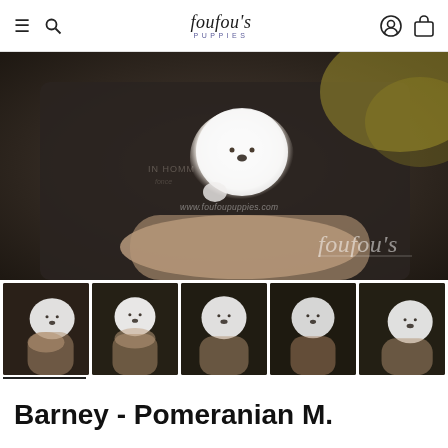foufou's PUPPIES
[Figure (photo): A small white fluffy Pomeranian puppy being held on someone's arm/hand. The person is wearing a dark navy/black knit sweater. Background shows blurred outdoor foliage with yellow-green leaves. Watermark reads www.foufoupuppies.com and foufou's script logo in bottom right.]
[Figure (photo): Thumbnail 1: Pomeranian puppy on arm, outdoors, dark sweater]
[Figure (photo): Thumbnail 2: Pomeranian puppy held up facing forward on arm]
[Figure (photo): Thumbnail 3: Pomeranian puppy on arm, front view]
[Figure (photo): Thumbnail 4: Pomeranian puppy on arm, dark background]
[Figure (photo): Thumbnail 5: Pomeranian puppy cradled in arm, side view]
Barney - Pomeranian M.